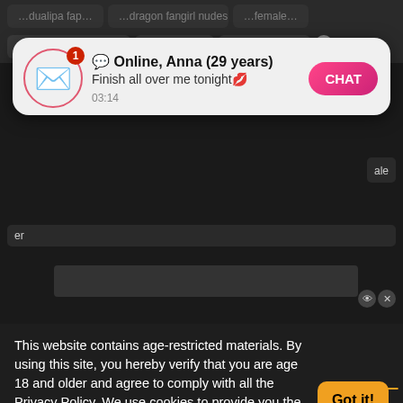randi aunty sex video | dualipa fap | free hot xxx hd
[Figure (screenshot): Dating site notification popup: envelope icon with badge '1', name 'Online, Anna (29 years)', message 'Finish all over me tonight', time '03:14', CHAT button]
rias gremory hentai | mom xxv
This website contains age-restricted materials. By using this site, you hereby verify that you are age 18 and older and agree to comply with all the Privacy Policy. We use cookies to provide you the best possible experience on our website and to monitor website traffic. Cookies Policy.